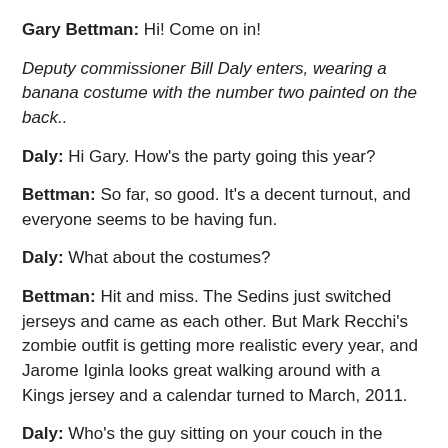Gary Bettman: Hi! Come on in!
Deputy commissioner Bill Daly enters, wearing a banana costume with the number two painted on the back..
Daly: Hi Gary. How's the party going this year?
Bettman: So far, so good. It's a decent turnout, and everyone seems to be having fun.
Daly: What about the costumes?
Bettman: Hit and miss. The Sedins just switched jerseys and came as each other. But Mark Recchi's zombie outfit is getting more realistic every year, and Jarome Iginla looks great walking around with a Kings jersey and a calendar turned to March, 2011.
Daly: Who's the guy sitting on your couch in the elaborate Grim Reaper costume?